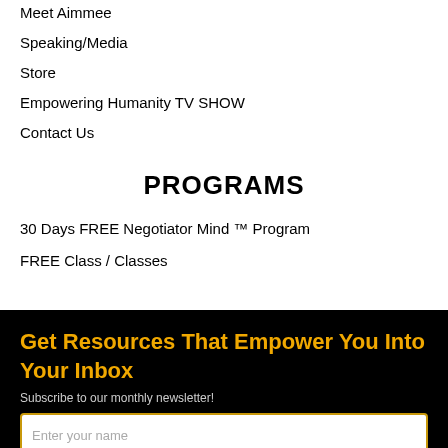Meet Aimmee
Speaking/Media
Store
Empowering Humanity TV SHOW
Contact Us
PROGRAMS
30 Days FREE Negotiator Mind ™ Program
FREE Class / Classes
Get Resources That Empower You Into Your Inbox
Subscribe to our monthly newsletter!
Enter your name